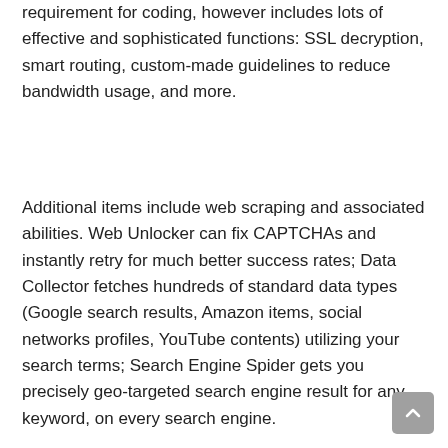requirement for coding, however includes lots of effective and sophisticated functions: SSL decryption, smart routing, custom-made guidelines to reduce bandwidth usage, and more.
Additional items include web scraping and associated abilities. Web Unlocker can fix CAPTCHAs and instantly retry for much better success rates; Data Collector fetches hundreds of standard data types (Google search results, Amazon items, social networks profiles, YouTube contents) utilizing your search terms; Search Engine Spider gets you precisely geo-targeted search engine result for any keyword, on every search engine.